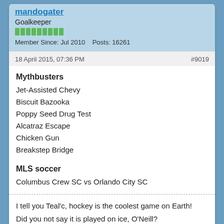mandogater
Goalkeeper
Member Since: Jul 2010    Posts: 16261
18 April 2015, 07:36 PM
#9019
Mythbusters
Jet-Assisted Chevy
Biscuit Bazooka
Poppy Seed Drug Test
Alcatraz Escape
Chicken Gun
Breakstep Bridge
MLS soccer
Columbus Crew SC vs Orlando City SC
I tell you Teal'c, hockey is the coolest game on Earth!
Did you not say it is played on ice, O'Neill?